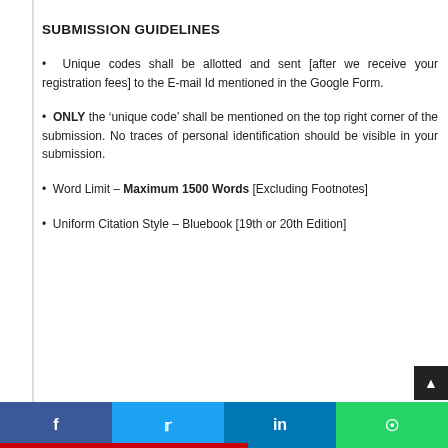SUBMISSION GUIDELINES
Unique codes shall be allotted and sent [after we receive your registration fees] to the E-mail Id mentioned in the Google Form.
ONLY the ‘unique code’ shall be mentioned on the top right corner of the submission. No traces of personal identification should be visible in your submission.
Word Limit – Maximum 1500 Words [Excluding Footnotes]
Uniform Citation Style – Bluebook [19th or 20th Edition]